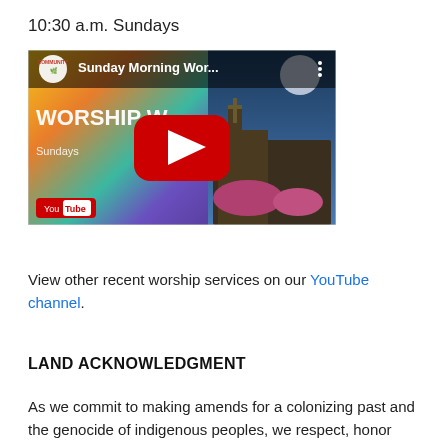10:30 a.m. Sundays
[Figure (screenshot): YouTube video thumbnail showing 'Sunday Morning Wor...' with a red YouTube play button overlay. Text 'WORSHIP W' visible on colorful background with a church building. YouTube logo in bottom left corner.]
View other recent worship services on our YouTube channel.
LAND ACKNOWLEDGMENT
As we commit to making amends for a colonizing past and the genocide of indigenous peoples, we respect, honor